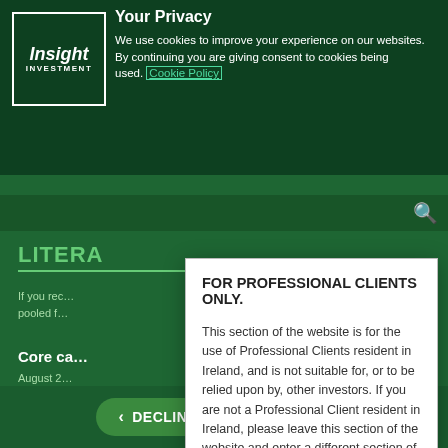Your Privacy
We use cookies to improve your experience on our websites. By continuing you are giving consent to cookies being used. Cookie Policy
FOR PROFESSIONAL CLIENTS ONLY.
This section of the website is for the use of Professional Clients resident in Ireland, and is not suitable for, or to be relied upon by, other investors. If you are not a Professional Client resident in Ireland, please leave this section of the website and enter a different section of the website which is appropriate to you, via the homepage.
Please read the following important information regarding the use of this
LITERA
If you rec... for a pooled f... le details
Core ca...
August 2...
Insight h... olving LDI app... go
DECLINE
ACCEPT